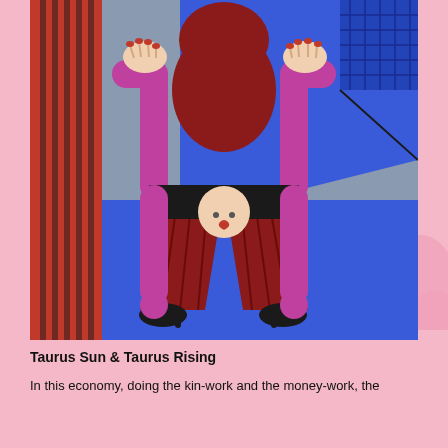[Figure (illustration): A colorful illustration of a person bending over with their head between their legs, shown upside down. The figure wears dark red/maroon pants, magenta/pink long-sleeved top, and black heels. Hands with red nail polish are raised at the sides. A round face with a heart symbol is visible between the legs at the crotch area. Background is blue and gray with red vertical stripes on the left and a blue grid pattern in the upper right corner. Pink watercolor blobs appear on the right side outside the main illustration box.]
Taurus Sun & Taurus Rising
In this economy, doing the kin-work and the money-work, the